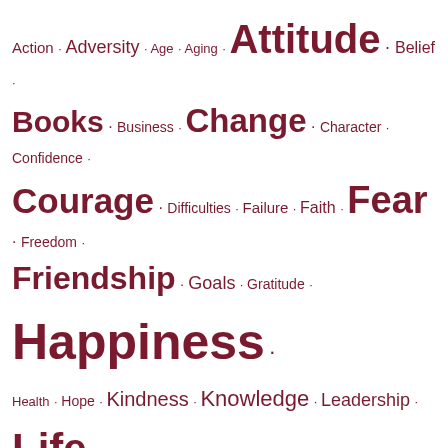Action • Adversity • Age • Aging • Attitude • Belief • Books • Business • Change • Character • Confidence • Courage • Difficulties • Failure • Faith • Fear • Freedom • Friendship • Goals • Gratitude • Happiness • Health • Hope • Kindness • Knowledge • Leadership • Life • Living • Love • Mistakes • Money • One liners • Optimism • Perseverance • Reading • Self-Discovery • Success • Thinking • Thought • Time • Time Management • Truth • Wealth • Wisdom • Work
Search
Search this website ...